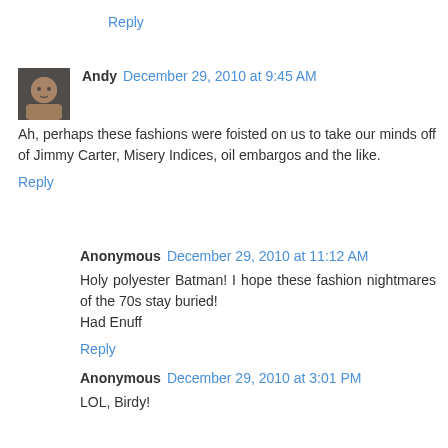Reply
Andy  December 29, 2010 at 9:45 AM
Ah, perhaps these fashions were foisted on us to take our minds off of Jimmy Carter, Misery Indices, oil embargos and the like.
Reply
Anonymous  December 29, 2010 at 11:12 AM
Holy polyester Batman! I hope these fashion nightmares of the 70s stay buried!
Had Enuff
Reply
Anonymous  December 29, 2010 at 3:01 PM
LOL, Birdy!